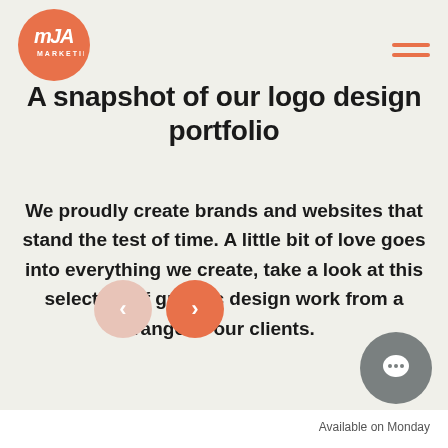[Figure (logo): MJA Marketing logo — orange circle with stylized 'mJA' text and 'MARKETING' label below]
A snapshot of our logo design portfolio
We proudly create brands and websites that stand the test of time. A little bit of love goes into everything we create, take a look at this selection of graphic design work from a range of our clients.
[Figure (infographic): Two circular navigation buttons: a light pink previous arrow and an orange next arrow]
[Figure (infographic): Grey circular chat/support bubble icon]
Available on Monday